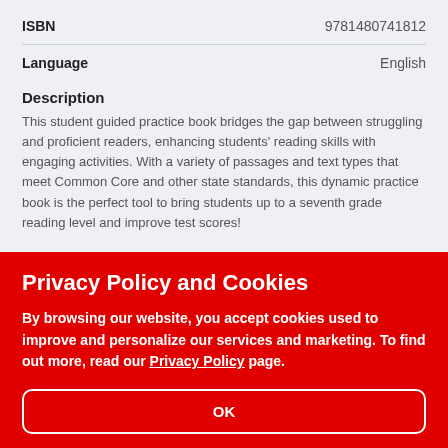ISBN	9781480741812
Language	English
Description
This student guided practice book bridges the gap between struggling and proficient readers, enhancing students' reading skills with engaging activities. With a variety of passages and text types that meet Common Core and other state standards, this dynamic practice book is the perfect tool to bring students up to a seventh grade reading level and improve test scores!
Privacy Policy and Cookies
By browsing our website, you accept cookies used to improve and personalize our services and marketing. To find out more, read our Privacy Policy page.
OK